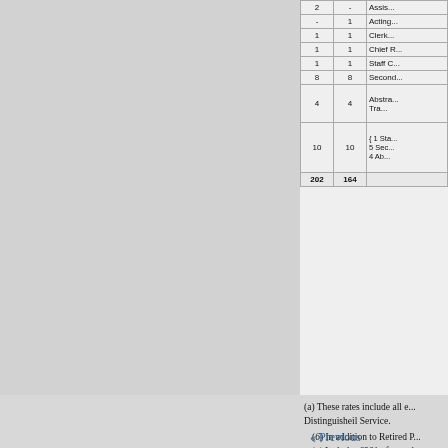| Col1 | Col2 | Description |
| --- | --- | --- |
| 2 | - | Assis... |
| - | 1 | Acting... |
| 1 | 1 | Clerk... |
| 1 | 1 | Chief R... |
| 1 | 1 | Staff C... |
| 8 | 8 | Second... |
| 4 | 4 | Abstra... Tra... |
| 10 | 10 | { 1 Sta... 5 Sec... 4 Ab... |
| 202 | 164 |  |
(a) These rates include all e... Distinguisheil Service.
(6) In addition to Retired P...
(c) Includes 6261., formerly...
d) The Retired officer Clerk, Cla... shown under SuppliesDirectorate...
(e) Shown as a Quartermaster in... 1,4281. formerly provided in Vo...
g) These records are kept for the... Ordnance; and in the Abstract (p... Departments.
« Previous